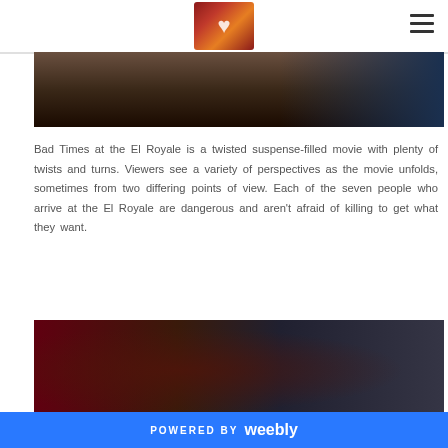Melissa Bear blog header with logo
[Figure (photo): Dark movie still from Bad Times at the El Royale, showing a dimly lit interior scene]
Bad Times at the El Royale is a twisted suspense-filled movie with plenty of twists and turns. Viewers see a variety of perspectives as the movie unfolds, sometimes from two differing points of view. Each of the seven people who arrive at the El Royale are dangerous and aren't afraid of killing to get what they want.
[Figure (photo): Movie still from Bad Times at the El Royale showing a person looking through a rain-covered car window at night]
POWERED BY weebly